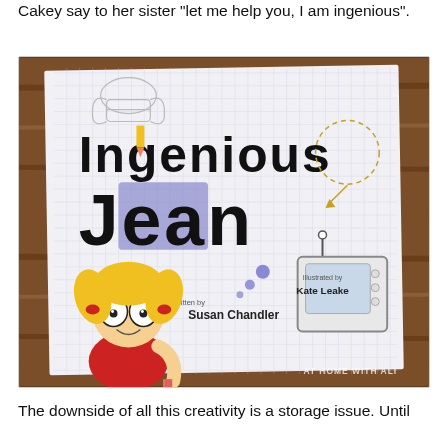Cakey say to her sister "let me help you, I am ingenious".
[Figure (photo): Photo of the book 'Ingenious Jean' written by Susan Chandler, illustrated by Kate Leake. The book cover shows a cartoon girl with blonde pigtails holding a pencil, with the title 'Ingenious Jean' in large stylized text. The book is placed on a wooden surface. A watermark reads 'AT HOME WITH ALI'.]
The downside of all this creativity is a storage issue. Until